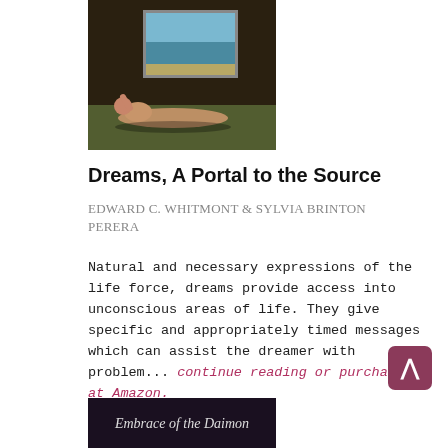[Figure (illustration): Book cover for 'Dreams, A Portal to the Source' showing a reclining nude figure in a dark room with a framed seascape painting on the wall behind. Dark moody painting style.]
Dreams, A Portal to the Source
EDWARD C. WHITMONT & SYLVIA BRINTON PERERA
Natural and necessary expressions of the life force, dreams provide access into unconscious areas of life. They give specific and appropriately timed messages which can assist the dreamer with problem... continue reading or purchase at Amazon.
[Figure (illustration): Partial view of another book cover titled 'Embrace of the Daimon' at the bottom of the page, dark background with light text.]